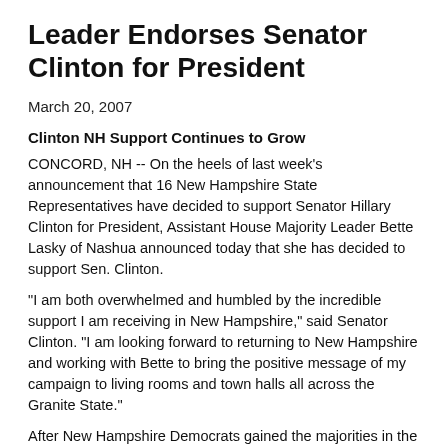Leader Endorses Senator Clinton for President
March 20, 2007
Clinton NH Support Continues to Grow
CONCORD, NH -- On the heels of last week's announcement that 16 New Hampshire State Representatives have decided to support Senator Hillary Clinton for President, Assistant House Majority Leader Bette Lasky of Nashua announced today that she has decided to support Sen. Clinton.
"I am both overwhelmed and humbled by the incredible support I am receiving in New Hampshire," said Senator Clinton. "I am looking forward to returning to New Hampshire and working with Bette to bring the positive message of my campaign to living rooms and town halls all across the Granite State."
After New Hampshire Democrats gained the majorities in the